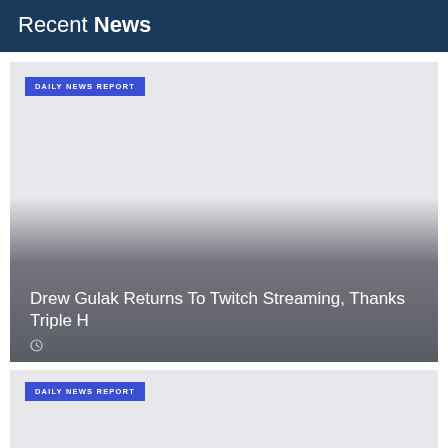Recent News
[Figure (screenshot): News article card with light gray background, blue 'DAILY NEWS REPORT' badge, gradient overlay at bottom, headline 'Drew Gulak Returns To Twitch Streaming, Thanks Triple H', and clock icon at bottom left]
Drew Gulak Returns To Twitch Streaming, Thanks Triple H
[Figure (screenshot): Second news article card with light gray background and blue 'DAILY NEWS REPORT' badge, partially visible]